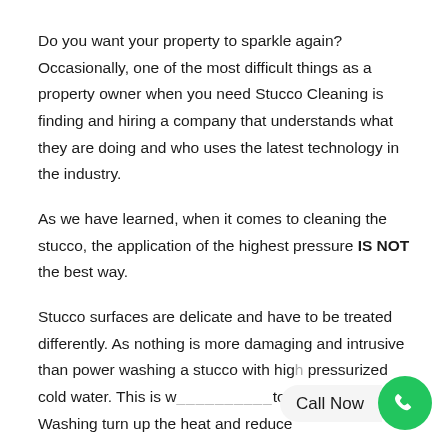Do you want your property to sparkle again? Occasionally, one of the most difficult things as a property owner when you need Stucco Cleaning is finding and hiring a company that understands what they are doing and who uses the latest technology in the industry.
As we have learned, when it comes to cleaning the stucco, the application of the highest pressure IS NOT the best way.
Stucco surfaces are delicate and have to be treated differently. As nothing is more damaging and intrusive than power washing a stucco with high pressurized cold water. This is w... to Pressure Washing turn up the heat and reduce